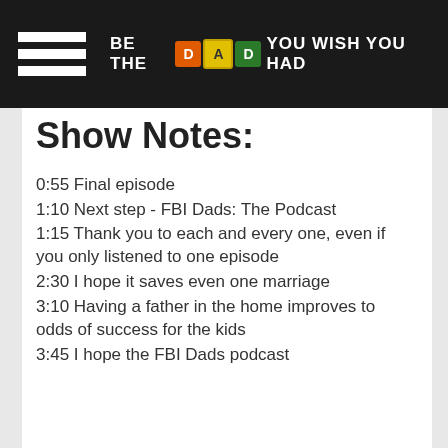BE THE DAD YOU WISH YOU HAD
Show Notes:
0:55 Final episode
1:10 Next step - FBI Dads: The Podcast
1:15 Thank you to each and every one, even if you only listened to one episode
2:30 I hope it saves even one marriage
3:10 Having a father in the home improves to odds of success for the kids
3:45 I hope the FBI Dads podcast